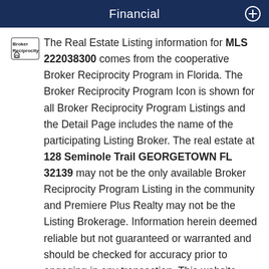Financial
The Real Estate Listing information for MLS 222038300 comes from the cooperative Broker Reciprocity Program in Florida. The Broker Reciprocity Program Icon is shown for all Broker Reciprocity Program Listings and the Detail Page includes the name of the participating Listing Broker. The real estate at 128 Seminole Trail GEORGETOWN FL 32139 may not be the only available Broker Reciprocity Program Listing in the community and Premiere Plus Realty may not be the Listing Brokerage. Information herein deemed reliable but not guaranteed or warranted and should be checked for accuracy prior to engaging in any transaction. This website indicates one source of 'Market Value' and we suggest that you look at several other sources to get the best idea of the Real Estate Market Value before entering into any real estate transaction. If you have any questions regarding this property, contact us.